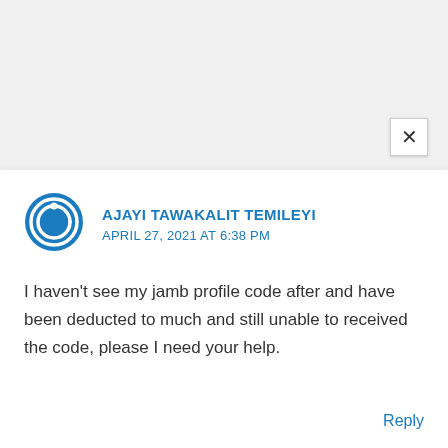[Figure (illustration): Close button (×) in the top right area of a modal/popup card]
[Figure (illustration): Circular blue power/user avatar icon]
AJAYI TAWAKALIT TEMILEYI
APRIL 27, 2021 AT 6:38 PM
I haven't see my jamb profile code after and have been deducted to much and still unable to received the code, please I need your help.
Reply